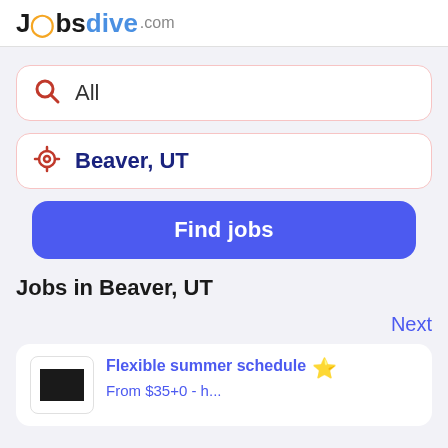JobsDive.com
All
Beaver, UT
Find jobs
Jobs in Beaver, UT
Next
Flexible summer schedule
From $35+0 - h...